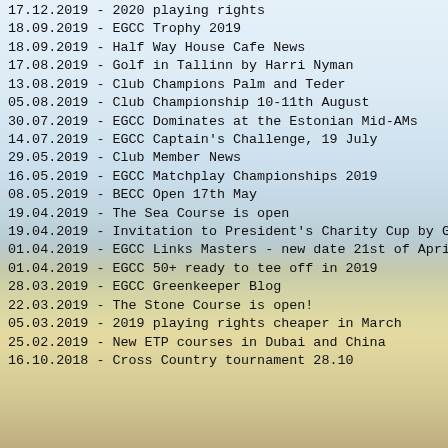17.12.2019 - 2020 playing rights
18.09.2019 - EGCC Trophy 2019
18.09.2019 - Half Way House Cafe News
17.08.2019 - Golf in Tallinn by Harri Nyman
13.08.2019 - Club Champions Palm and Teder
05.08.2019 - Club Championship 10-11th August
30.07.2019 - EGCC Dominates at the Estonian Mid-AMs
14.07.2019 - EGCC Captain's Challenge, 19 July
29.05.2019 - Club Member News
16.05.2019 - EGCC Matchplay Championships 2019
08.05.2019 - BECC Open 17th May
19.04.2019 - The Sea Course is open
19.04.2019 - Invitation to President's Charity Cup by GOSPA
01.04.2019 - EGCC Links Masters - new date 21st of April
01.04.2019 - EGCC 50+ ready to tee off in 2019
28.03.2019 - EGCC Greenkeeper Blog
22.03.2019 - The Stone Course is open!
05.03.2019 - 2019 playing rights cheaper in March
25.02.2019 - New ETP courses in Dubai and China
16.10.2018 - Cross Country tournament 28.10